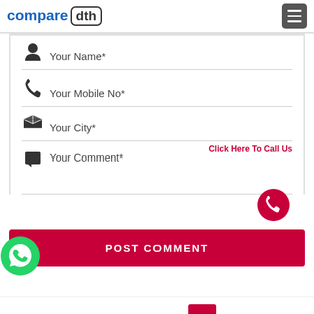[Figure (logo): Compare DTH logo with 'compare' in blue bold text and 'dth' in a rounded rectangle border]
[Figure (screenshot): Contact form with fields: Your Name*, Your Mobile No*, Your City*, Your Comment*; a POST COMMENT button in red/pink; a 'Click Here To Call Us' label with red phone circle; a WhatsApp floating button at bottom left]
Your Name*
Your Mobile No*
Your City*
Your Comment*
Click Here To Call Us
POST COMMENT